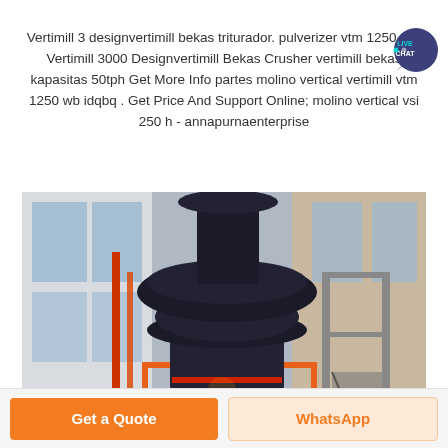Vertimill 3 designvertimill bekas triturador. pulverizer vtm 1250 wb. Vertimill 3000 Designvertimill Bekas Crusher vertimill bekas kapasitas 50tph Get More Info partes molino vertical vertimill vtm 1250 wb idqbq . Get Price And Support Online; molino vertical vsi 250 h - annapurnaenterprise
[Figure (photo): Industrial vertical mill machine (Vertimill) installed inside a factory building, showing a large dark-colored cylindrical grinding tower with multiple tiers, surrounded by orange safety railings and metal scaffolding. Red piping visible on the left side, large industrial windows in background.]
Get a Quote
WhatsApp